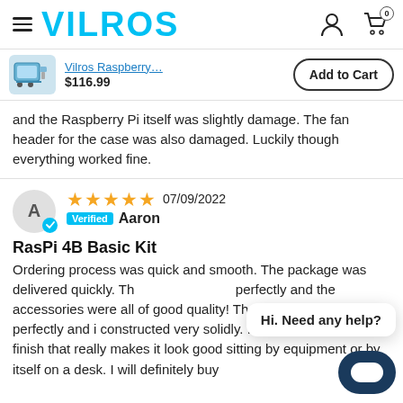VILROS
Vilros Raspberry... $116.99 Add to Cart
and the Raspberry Pi itself was slightly damage. The fan header for the case was also damaged. Luckily though everything worked fine.
★★★★★ 07/09/2022 Verified Aaron
RasPi 4B Basic Kit
Ordering process was quick and smooth. The package was delivered quickly. Th perfectly and the accessories were all of good quality! The aluminum case fits perfectly and is constructed very solidly. It has a good powder finish that really makes it look good sitting by equipment or by itself on a desk. I will definitely buy